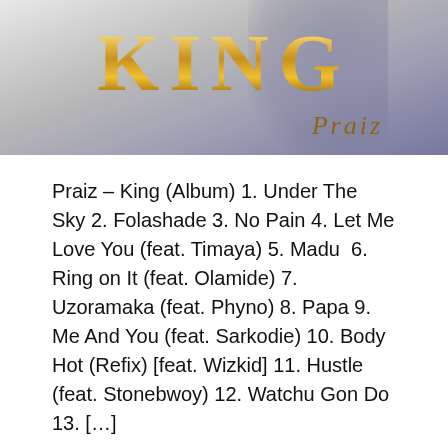[Figure (illustration): Album cover for Praiz – King album showing the word KING in large gold metallic letters with 'Praiz' written in cursive script below, against a light grey/blue background with a partial figure visible.]
Praiz – King (Album) 1. Under The Sky 2. Folashade 3. No Pain 4. Let Me Love You (feat. Timaya) 5. Madu  6. Ring on It (feat. Olamide) 7. Uzoramaka (feat. Phyno) 8. Papa 9. Me And You (feat. Sarkodie) 10. Body Hot (Refix) [feat. Wizkid] 11. Hustle (feat. Stonebwoy) 12. Watchu Gon Do 13. […]
November 29, 2019